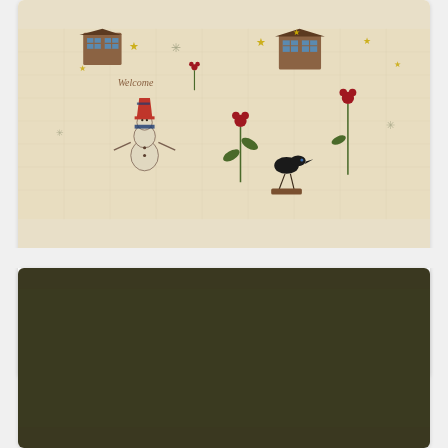[Figure (photo): Fabric swatch showing Buttermilk Blossoms Novelty Toss Taupe pattern with folk art motifs including a snowman, crow, stars, flowers, and house windows on a cream/taupe background]
PRODUCT
Buttermilk Blossoms Novelty Toss Taupe 2104-46
$11.99
[Figure (photo): Fabric swatch showing a dark olive/brown background with small scattered leaf or feather motifs in a golden tan color, creating an allover texture pattern]